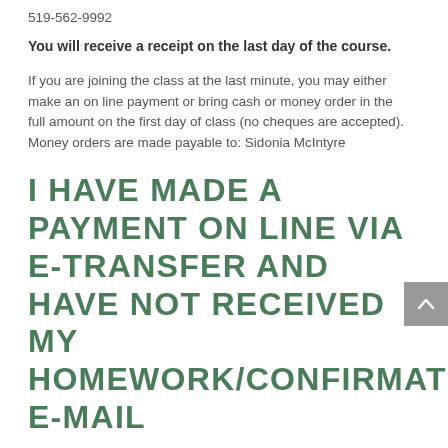519-562-9992
You will receive a receipt on the last day of the course.
If you are joining the class at the last minute, you may either make an on line payment or bring cash or money order in the full amount on the first day of class (no cheques are accepted). Money orders are made payable to: Sidonia McIntyre
I HAVE MADE A PAYMENT ON LINE VIA E-TRANSFER AND HAVE NOT RECEIVED MY HOMEWORK/CONFIRMATION E-MAIL
Please check that the e-mail address if correct. The only e-mail